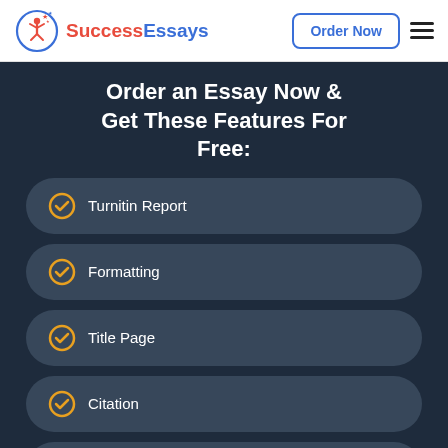[Figure (logo): Success Essays logo with red figure and blue text]
Order Now
Order an Essay Now & Get These Features For Free:
Turnitin Report
Formatting
Title Page
Citation
Outline